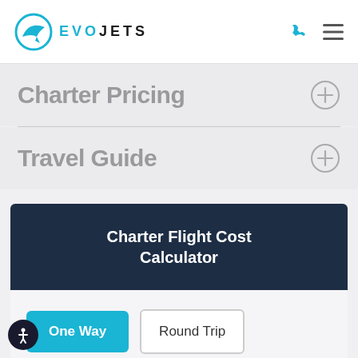[Figure (logo): EvoJets logo with teal airplane icon and text EVOJETS, plus phone and hamburger menu icons on the right]
Charter Pricing
Travel Guide
Charter Flight Cost Calculator
One Way
Round Trip